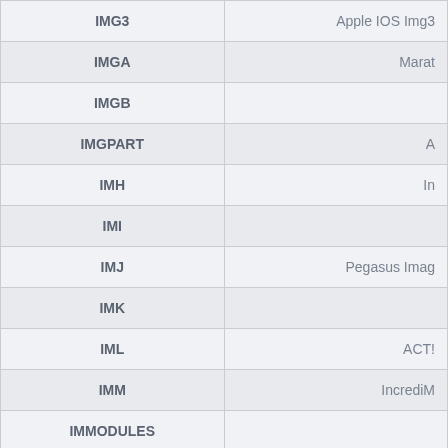| Extension | Description |
| --- | --- |
| IMG3 | Apple IOS Img3 |
| IMGA | Marat |
| IMGB |  |
| IMGPART | A |
| IMH | In |
| IMI |  |
| IMJ | Pegasus Imag |
| IMK |  |
| IML | ACT! |
| IMM | IncrediM |
| IMMODULES |  |
| IMN |  |
| IMO |  |